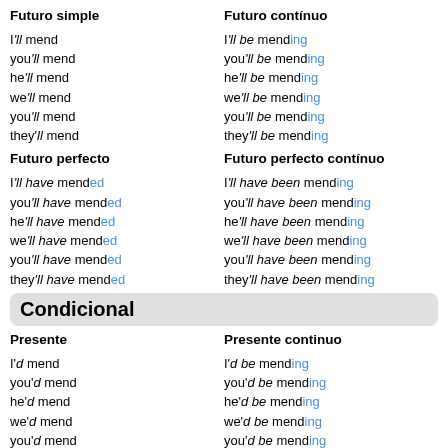Futuro simple
Futuro continuo
I'll mend
I'll be mending
you'll mend
you'll be mending
he'll mend
he'll be mending
we'll mend
we'll be mending
you'll mend
you'll be mending
they'll mend
they'll be mending
Futuro perfecto
Futuro perfecto continuo
I'll have mended
I'll have been mending
you'll have mended
you'll have been mending
he'll have mended
he'll have been mending
we'll have mended
we'll have been mending
you'll have mended
you'll have been mending
they'll have mended
they'll have been mending
Condicional
Presente
Presente continuo
I'd mend
I'd be mending
you'd mend
you'd be mending
he'd mend
he'd be mending
we'd mend
we'd be mending
you'd mend
you'd be mending
they'd mend
they'd be mending
Passado
Passado continuo